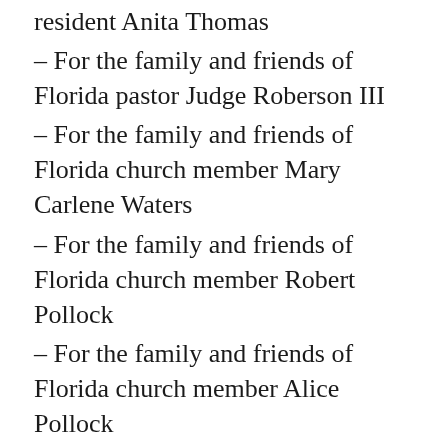resident Anita Thomas
– For the family and friends of Florida pastor Judge Roberson III
– For the family and friends of Florida church member Mary Carlene Waters
– For the family and friends of Florida church member Robert Pollock
– For the family and friends of Florida church member Alice Pollock
– For the family and friends of California teacher Russ Abraham
– For the family and friends of California resident Azar Ahrabi
– For the family and friends of California